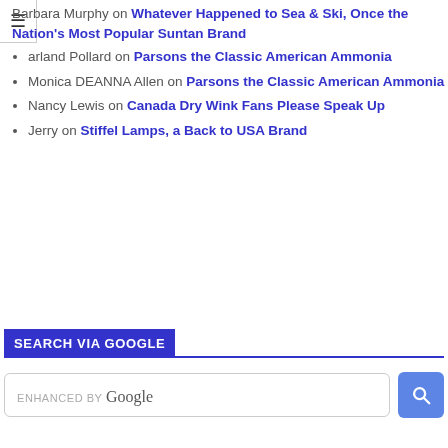Barbara Murphy on Whatever Happened to Sea & Ski, Once the Nation's Most Popular Suntan Brand
Garland Pollard on Parsons the Classic American Ammonia
Monica DEANNA Allen on Parsons the Classic American Ammonia
Nancy Lewis on Canada Dry Wink Fans Please Speak Up
Jerry on Stiffel Lamps, a Back to USA Brand
SEARCH VIA GOOGLE
[Figure (screenshot): Google search bar with 'ENHANCED BY Google' placeholder text and a blue search button with magnifying glass icon]